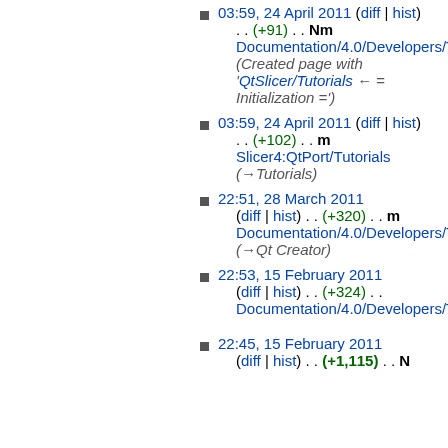03:59, 24 April 2011 (diff | hist) . . (+91) . . Nm Documentation/4.0/Developers/Tu (Created page with 'QtSlicer/Tutorials ← = Initialization =')
03:59, 24 April 2011 (diff | hist) . . (+102) . . m Slicer4:QtPort/Tutorials (→Tutorials)
22:51, 28 March 2011 (diff | hist) . . (+320) . . m Documentation/4.0/Developers/Tu (→Qt Creator)
22:53, 15 February 2011 (diff | hist) . . (+324) . . Documentation/4.0/Developers/Tu
22:45, 15 February 2011 (diff | hist) . . (+1,115) . . N